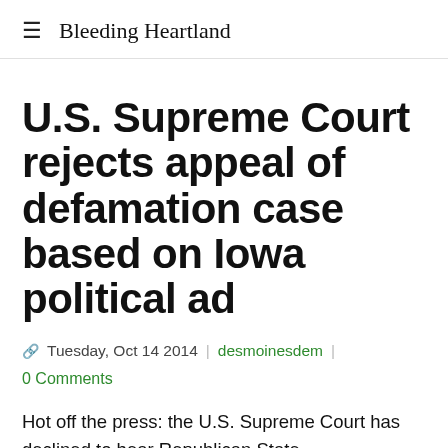Bleeding Heartland
U.S. Supreme Court rejects appeal of defamation case based on Iowa political ad
Tuesday, Oct 14 2014 | desmoinesdem |
0 Comments
Hot off the press: the U.S. Supreme Court has declined to hear Republican State